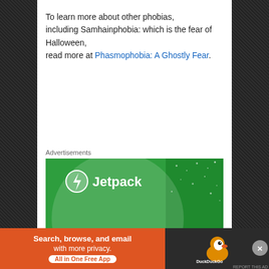To learn more about other phobias, including Samhainphobia: which is the fear of Halloween, read more at Phasmophobia: A Ghostly Fear.
Advertisements
[Figure (illustration): Jetpack advertisement banner on green background with large light circle and stars. Shows Jetpack logo (lightning bolt icon) and text 'The best real-time']
Advertisements
[Figure (illustration): DuckDuckGo advertisement banner. Orange left section with text 'Search, browse, and email with more privacy. All in One Free App'. Dark right section with DuckDuckGo duck logo.]